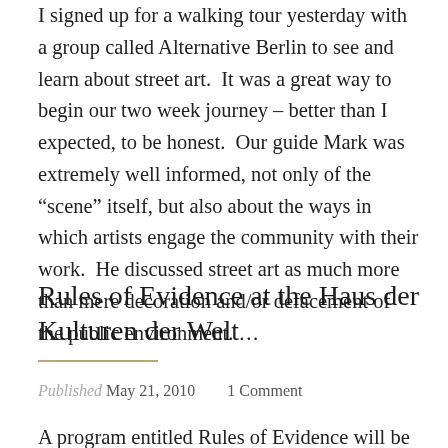I signed up for a walking tour yesterday with a group called Alternative Berlin to see and learn about street art.  It was a great way to begin our two week journey – better than I expected, to be honest.  Our guide Mark was extremely well informed, not only of the “scene” itself, but also about the ways in which artists engage the community with their work.  He discussed street art as much more than mere decoration and/or defacement of the public environment. …
Rules of Evidence at the Haus der Kulturen der Welt
Published  May 21, 2010    1 Comment
A program entitled Rules of Evidence will be presented